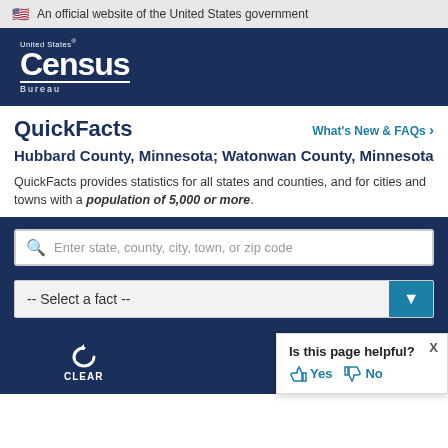An official website of the United States government
[Figure (logo): United States Census Bureau logo — white text on navy background]
QuickFacts
Hubbard County, Minnesota; Watonwan County, Minnesota
QuickFacts provides statistics for all states and counties, and for cities and towns with a population of 5,000 or more.
Enter state, county, city, town, or zip code
-- Select a fact --
CLEAR
Is this page helpful? Yes No